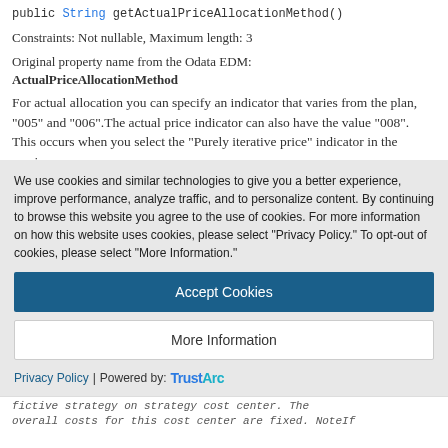public String getActualPriceAllocationMethod()
Constraints: Not nullable, Maximum length: 3
Original property name from the Odata EDM: ActualPriceAllocationMethod
For actual allocation you can specify an indicator that varies from the plan, "005" and "006".The actual price indicator can also have the value "008". This occurs when you select the "Purely iterative price" indicator in the version
We use cookies and similar technologies to give you a better experience, improve performance, analyze traffic, and to personalize content. By continuing to browse this website you agree to the use of cookies. For more information on how this website uses cookies, please select "Privacy Policy." To opt-out of cookies, please select "More Information."
Accept Cookies
More Information
Privacy Policy | Powered by: TrustArc
fictive strategy on strategy cost center. The overall costs for this cost center are fixed. NoteIf